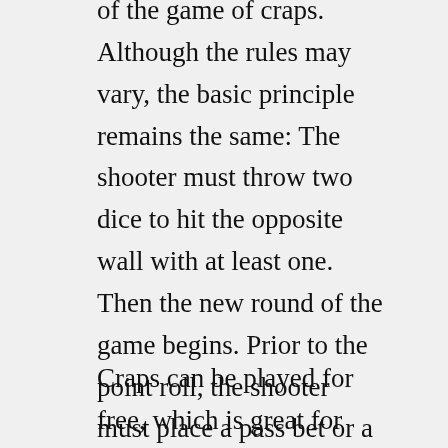There are a variety of casinos that offer free versions of the game of craps. Although the rules may vary, the basic principle remains the same: The shooter must throw two dice to hit the opposite wall with at least one. Then the new round of the game begins. Prior to the point roll, the shooter must place a pass bet or a don't pass bet. He wins if he does. Other bets can also be placed on the odds and naturals. When playing online craps for free players can decide to place bets on a pass line or don't pass line. If the player rolls two dice and doesn't place a pass line bet the round is lost.
Craps can be played for free, which is great for practicing. The negative expectation value of Craps can be frustrating, however, different betting